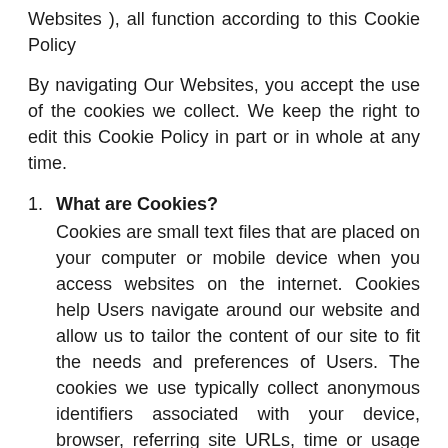Websites ), all function according to this Cookie Policy
By navigating Our Websites, you accept the use of the cookies we collect. We keep the right to edit this Cookie Policy in part or in whole at any time.
1. What are Cookies? Cookies are small text files that are placed on your computer or mobile device when you access websites on the internet. Cookies help Users navigate around our website and allow us to tailor the content of our site to fit the needs and preferences of Users. The cookies we use typically collect anonymous identifiers associated with your device, browser, referring site URLs, time or usage information, Website preferences and settings, etc. (as further provided in this Policy).